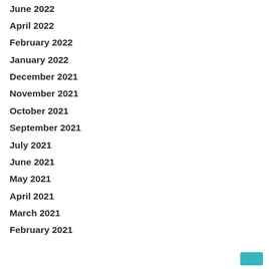June 2022
April 2022
February 2022
January 2022
December 2021
November 2021
October 2021
September 2021
July 2021
June 2021
May 2021
April 2021
March 2021
February 2021